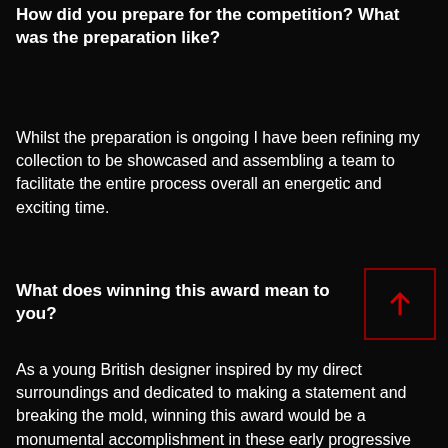How did you prepare for the competition? What was the preparation like?
Whilst the preparation is ongoing I have been refining my collection to be showcased and assembling a team to facilitate the entire process overall an energetic and exciting time.
What does winning this award mean to you?
As a young British designer inspired by my direct surroundings and dedicated to making a statement and breaking the mold, winning this award would be a monumental accomplishment in these early progressive stages of Belle by Belle